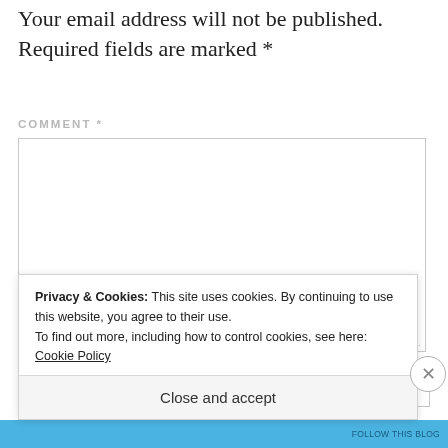Your email address will not be published. Required fields are marked *
COMMENT *
[Figure (screenshot): Empty comment text area input box with resize handle]
Privacy & Cookies: This site uses cookies. By continuing to use this website, you agree to their use. To find out more, including how to control cookies, see here: Cookie Policy
Close and accept